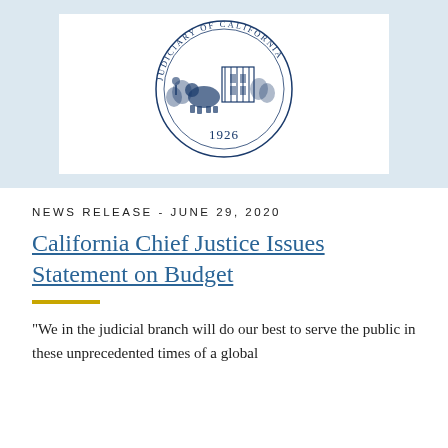[Figure (logo): Seal of the Judicial Council of California, circular blue seal with imagery and text 'JUDICIARY OF CALIFORNIA' around the border and '1926' at the bottom]
NEWS RELEASE - JUNE 29, 2020
California Chief Justice Issues Statement on Budget
"We in the judicial branch will do our best to serve the public in these unprecedented times of a global